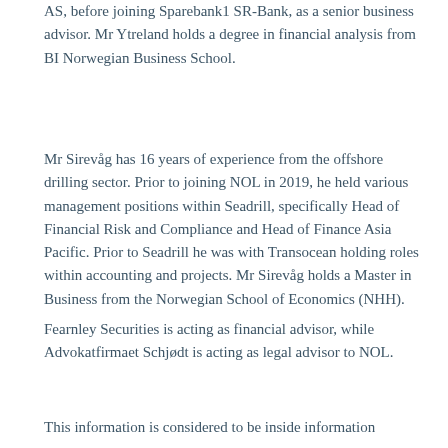AS, before joining Sparebank1 SR-Bank, as a senior business advisor. Mr Ytreland holds a degree in financial analysis from BI Norwegian Business School.
Mr Sirevåg has 16 years of experience from the offshore drilling sector. Prior to joining NOL in 2019, he held various management positions within Seadrill, specifically Head of Financial Risk and Compliance and Head of Finance Asia Pacific. Prior to Seadrill he was with Transocean holding roles within accounting and projects. Mr Sirevåg holds a Master in Business from the Norwegian School of Economics (NHH).
Fearnley Securities is acting as financial advisor, while Advokatfirmaet Schjødt is acting as legal advisor to NOL.
This information is considered to be inside information